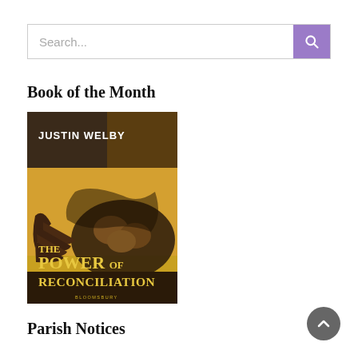[Figure (screenshot): Search bar with placeholder text 'Search...' and a purple search button with magnifying glass icon on the right]
Book of the Month
[Figure (photo): Book cover of 'The Power of Reconciliation' by Justin Welby, published by Bloomsbury. The cover features dark-toned hands and a bowl against a golden background.]
Parish Notices